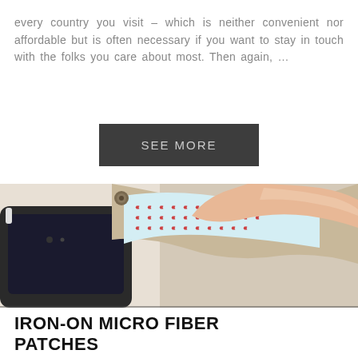every country you visit – which is neither convenient nor affordable but is often necessary if you want to stay in touch with the folks you care about most. Then again, …
SEE MORE
[Figure (photo): A hand peeling back a fabric patch with 3M adhesive from the back of a smartphone in a dark case. The patch is a beige/tan microfiber material being lifted away to reveal the red-patterned 3M adhesive backing.]
IRON-ON MICRO FIBER PATCHES